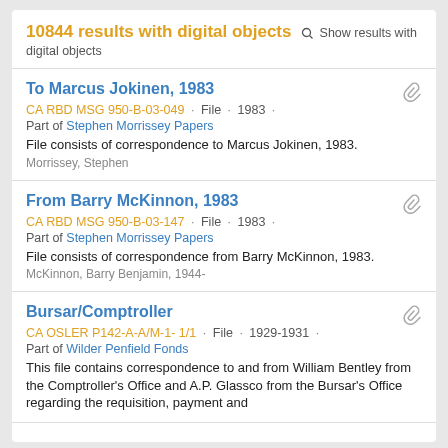10844 results with digital objects · Show results with digital objects
To Marcus Jokinen, 1983
CA RBD MSG 950-B-03-049 · File · 1983 ·
Part of Stephen Morrissey Papers
File consists of correspondence to Marcus Jokinen, 1983.
Morrissey, Stephen
From Barry McKinnon, 1983
CA RBD MSG 950-B-03-147 · File · 1983 ·
Part of Stephen Morrissey Papers
File consists of correspondence from Barry McKinnon, 1983.
McKinnon, Barry Benjamin, 1944-
Bursar/Comptroller
CA OSLER P142-A-A/M-1- 1/1 · File · 1929-1931 ·
Part of Wilder Penfield Fonds
This file contains correspondence to and from William Bentley from the Comptroller's Office and A.P. Glassco from the Bursar's Office regarding the requisition, payment and